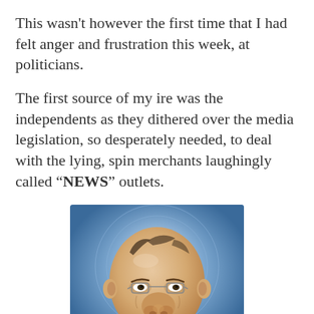This wasn't however the first time that I had felt anger and frustration this week, at politicians.
The first source of my ire was the independents as they dithered over the media legislation, so desperately needed, to deal with the lying, spin merchants laughingly called "NEWS" outlets.
[Figure (illustration): Caricature illustration of an elderly man (Rupert Murdoch style) with exaggerated facial features, bald head, small glasses, against a blue circular background.]